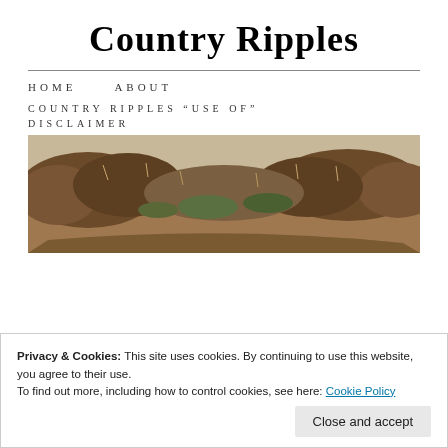Country Ripples
HOME   ABOUT
COUNTRY RIPPLES “USE OF”
DISCLAIMER
[Figure (photo): Landscape photo showing dry scrubby vegetation and a path, in muted autumnal tones]
Privacy & Cookies: This site uses cookies. By continuing to use this website, you agree to their use.
To find out more, including how to control cookies, see here: Cookie Policy
Close and accept
Part II